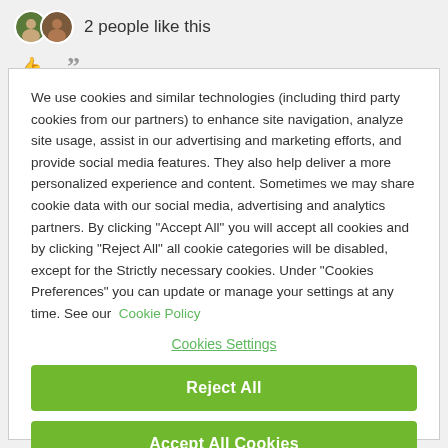[Figure (illustration): Two overlapping circular avatar photos and '2 people like this' text]
[Figure (illustration): Thumbs up icon and quotation mark icon row]
We use cookies and similar technologies (including third party cookies from our partners) to enhance site navigation, analyze site usage, assist in our advertising and marketing efforts, and provide social media features. They also help deliver a more personalized experience and content. Sometimes we may share cookie data with our social media, advertising and analytics partners. By clicking "Accept All" you will accept all cookies and by clicking "Reject All" all cookie categories will be disabled, except for the Strictly necessary cookies. Under "Cookies Preferences" you can update or manage your settings at any time. See our Cookie Policy
Cookies Settings
Reject All
Accept All Cookies